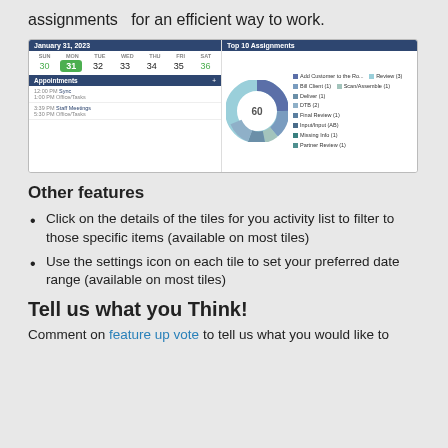assignments  for an efficient way to work.
[Figure (screenshot): Screenshot showing a calendar view for January 31, 2023 with appointments listed, and a donut chart titled 'Top 10 Assignments' showing 60 total with a legend listing items like Add Customer to the Ro..., Review (3), Bill Client (1), Scan/Assemble (1), Deliver (1), DTB (2), Final Review (1), Input/Input (AB), Missing Info (1), Partner Review (1)]
Other features
Click on the details of the tiles for you activity list to filter to those specific items (available on most tiles)
Use the settings icon on each tile to set your preferred date range (available on most tiles)
Tell us what you Think!
Comment on feature up vote to tell us what you would like to